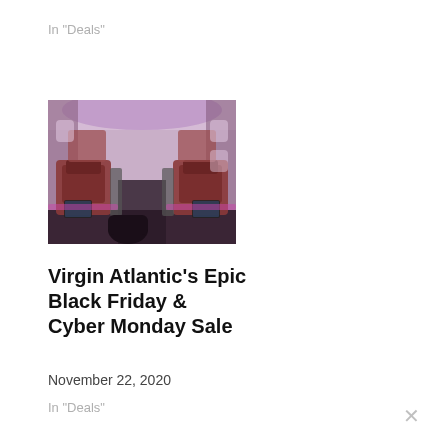In "Deals"
[Figure (photo): Interior of a Virgin Atlantic aircraft business class cabin with purple ambient lighting and orange leather seats arranged in a pod configuration]
Virgin Atlantic's Epic Black Friday & Cyber Monday Sale
November 22, 2020
In "Deals"